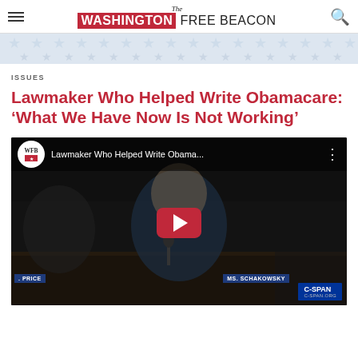The Washington Free Beacon
[Figure (illustration): Stars and stripes decorative banner in light blue and white]
ISSUES
Lawmaker Who Helped Write Obamacare: ‘What We Have Now Is Not Working’
[Figure (screenshot): YouTube video thumbnail showing a congressional hearing with a lawmaker in a blue jacket. Name placards read 'PRICE' and 'MS. SCHAKOWSKY'. C-SPAN watermark visible. Video title: 'Lawmaker Who Helped Write Obama...']